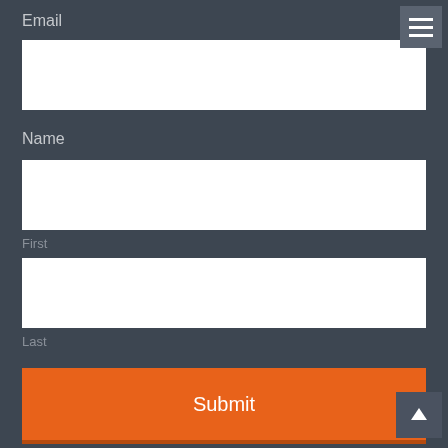Email
[Figure (screenshot): White input text field for email]
Name
[Figure (screenshot): White input text field for first name]
First
[Figure (screenshot): White input text field for last name]
Last
[Figure (screenshot): Orange Submit button]
[Figure (infographic): Hamburger menu icon in top right corner]
[Figure (infographic): Scroll-to-top arrow button in bottom right corner]